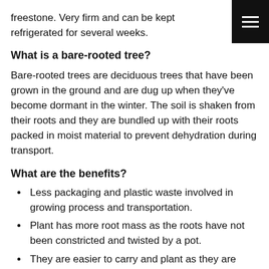freestone. Very firm and can be kept refrigerated for several weeks.
What is a bare-rooted tree?
Bare-rooted trees are deciduous trees that have been grown in the ground and are dug up when they've become dormant in the winter. The soil is shaken from their roots and they are bundled up with their roots packed in moist material to prevent dehydration during transport.
What are the benefits?
Less packaging and plastic waste involved in growing process and transportation.
Plant has more root mass as the roots have not been constricted and twisted by a pot.
They are easier to carry and plant as they are extremely lightweight.
Bare-rooted trees are cheaper as they do not come with soil and pots.